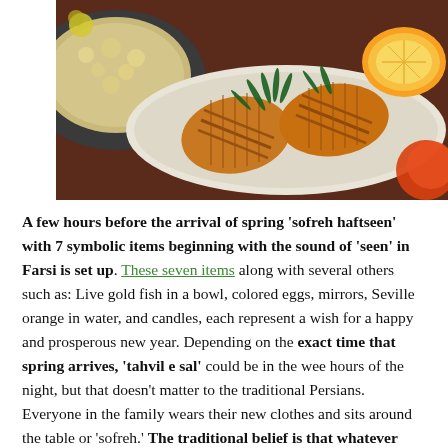[Figure (photo): A plate of grilled fish steaks garnished with fresh dill and a lemon half, with another dish of couscous or rice visible in the upper left corner.]
A few hours before the arrival of spring 'sofreh haftseen' with 7 symbolic items beginning with the sound of 'seen' in Farsi is set up. These seven items along with several others such as: Live gold fish in a bowl, colored eggs, mirrors, Seville orange in water, and candles, each represent a wish for a happy and prosperous new year. Depending on the exact time that spring arrives, 'tahvil e sal' could be in the wee hours of the night, but that doesn't matter to the traditional Persians. Everyone in the family wears their new clothes and sits around the table or 'sofreh.' The traditional belief is that whatever that you are doing at that precise moment, you will continue doing for the rest of the new year; so being together with the loved ones